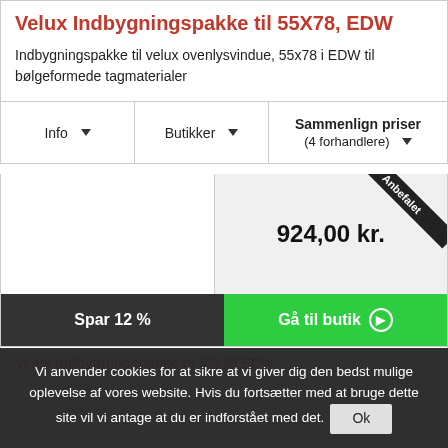Velux Indbygningspakke til 55X78, EDW
Indbygningspakke til velux ovenlysvindue, 55x78 i EDW til bølgeformede tagmaterialer
| Info | Butikker | Sammenlign priser (4 forhandlere) |
| --- | --- | --- |
[Figure (screenshot): Product card showing price 924,00 kr. with Anbefalet badge, Spar 12% dark bar, and green Gå til butik button]
Velux indbygningspakke til 55x38 EDW
Vi anvender cookies for at sikre at vi giver dig den bedst mulige oplevelse af vores website. Hvis du fortsætter med at bruge dette site vil vi antage at du er indforstået med det.  Ok